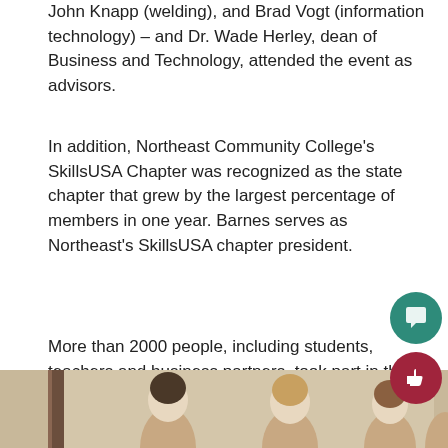John Knapp (welding), and Brad Vogt (information technology) – and Dr. Wade Herley, dean of Business and Technology, attended the event as advisors.
In addition, Northeast Community College's SkillsUSA Chapter was recognized as the state chapter that grew by the largest percentage of members in one year. Barnes serves as Northeast's SkillsUSA chapter president.
More than 2000 people, including students, teachers and business partners, took part in the two and-a-half day event.
[Figure (photo): Group photo of several students and faculty members standing together in a room with a wood door frame visible on the left and a beige/tan wall in the background.]